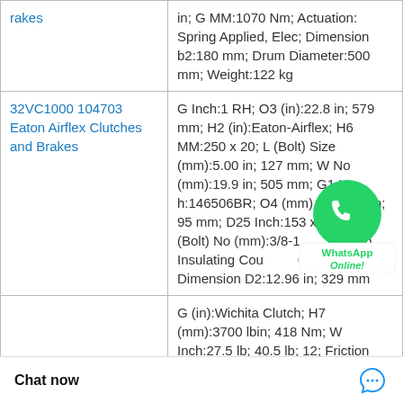| Product | Specifications |
| --- | --- |
| Flakes (partial) | in; G MM:1070 Nm; Actuation: Spring Applied, Elec; Dimension b2:180 mm; Drum Diameter:500 mm; Weight:122 kg |
| 32VC1000 104703 Eaton Airflex Clutches and Brakes | G Inch:1 RH; O3 (in):22.8 in; 579 mm; H2 (in):Eaton-Airflex; H6 MM:250 x 20; L (Bolt) Size (mm):5.00 in; 127 mm; W No (mm):19.9 in; 505 mm; G1 Inch:146506BR; O4 (mm):in; 95 mm; D25 Inch:153 x...; L (Bolt) No (mm):3/8-1...; bly with Insulating Coup...; 04909AA; Dimension D2:12.96 in; 329 mm |
| (partial) | G (in):Wichita Clutch; H7 (mm):3700 lbin; 418 Nm; W Inch:27.5 lb; 40.5 lb; 12; Friction Area...:100-200-0; H7 (i...); D2 (mm):2900 l...; D2 (in):Air Appli... |
Chat now